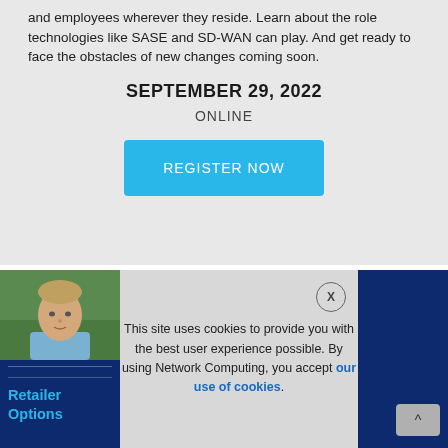and employees wherever they reside. Learn about the role technologies like SASE and SD-WAN can play. And get ready to face the obstacles of new changes coming soon.
SEPTEMBER 29, 2022
ONLINE
REGISTER NOW
[Figure (photo): Headshot of a middle-aged man outdoors with green foliage background]
This site uses cookies to provide you with the best user experience possible. By using Network Computing, you accept our use of cookies.
Retailer Options